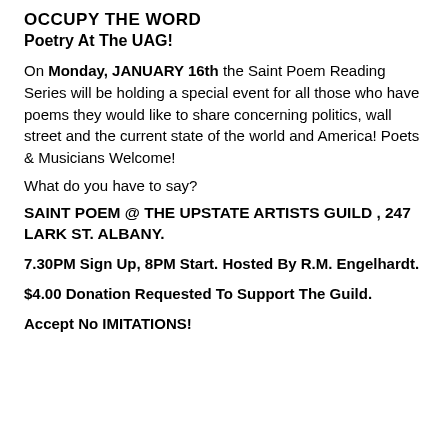OCCUPY THE WORD
Poetry At The UAG!
On Monday, JANUARY 16th the Saint Poem Reading Series will be holding a special event for all those who have poems they would like to share concerning politics, wall street and the current state of the world and America! Poets & Musicians Welcome!
What do you have to say?
SAINT POEM @ THE UPSTATE ARTISTS GUILD , 247 LARK ST. ALBANY.
7.30PM Sign Up, 8PM Start. Hosted By R.M. Engelhardt.
$4.00 Donation Requested To Support The Guild.
Accept No IMITATIONS!